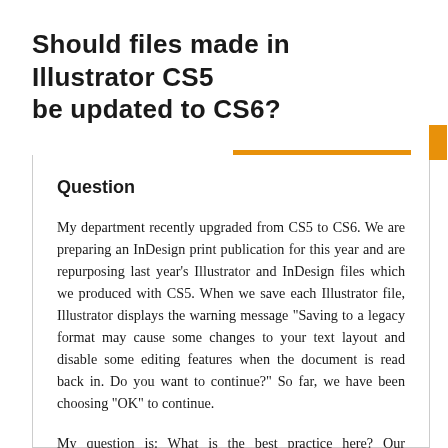Should files made in Illustrator CS5 be updated to CS6?
Question
My department recently upgraded from CS5 to CS6. We are preparing an InDesign print publication for this year and are repurposing last year's Illustrator and InDesign files which we produced with CS5. When we save each Illustrator file, Illustrator displays the warning message "Saving to a legacy format may cause some changes to your text layout and disable some editing features when the document is read back in. Do you want to continue?" So far, we have been choosing "OK" to continue.
My question is: What is the best practice here? Our illustrations are all statistical graphs using the exact